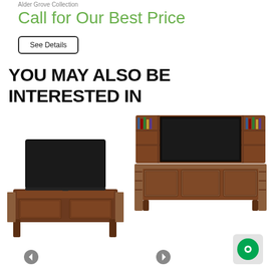Alder Grove Collection
Call for Our Best Price
See Details
YOU MAY ALSO BE INTERESTED IN
[Figure (photo): Rustic wooden TV stand with glass cabinet doors and a flatscreen TV on top]
[Figure (photo): Large rustic wooden entertainment center with bookcase hutch, multiple shelves, cabinet doors, and a flatscreen TV]